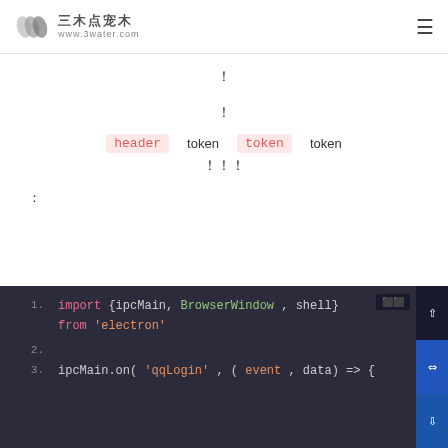三木点宠木 www.3water.com
!
!
header token token
!!!
:
[Figure (screenshot): Code editor screenshot showing JavaScript/Electron code: line 1: import {ipcMain, BrowserWindow, shell} from 'electron', line 2: (empty), line 3: ipcMain.on('qqLogin', (event, data) => {]